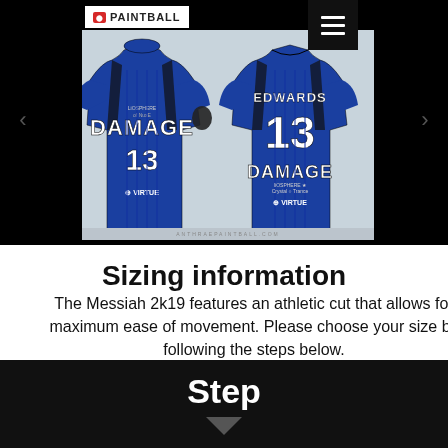[Figure (photo): Two blue paintball jerseys with 'DAMAGE' and number 13 branding, front and back views. Back shows 'EDWARDS 13'. Various sponsor logos including Virtue. Anthrax Paintball branding.]
Sizing information
The Messiah 2k19 features an athletic cut that allows for maximum ease of movement. Please choose your size by following the steps below.
Step